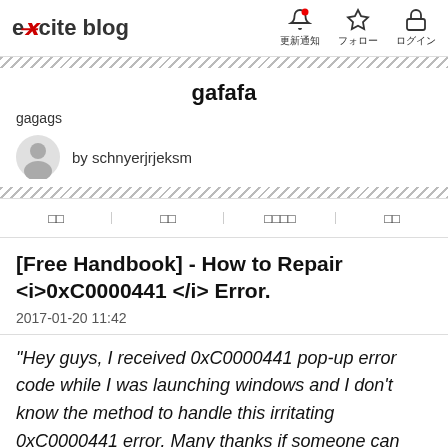excite blog
gafafa
gagags
by schnyerjrjeksm
□□ □□ □□□□ □□
[Free Handbook] - How to Repair <i>0xC0000441 </i> Error.
2017-01-20 11:42
"Hey guys, I received 0xC0000441 pop-up error code while I was launching windows and I don't know the method to handle this irritating 0xC0000441 error. Many thanks if someone can help me. Any suggestion will be appreciated."